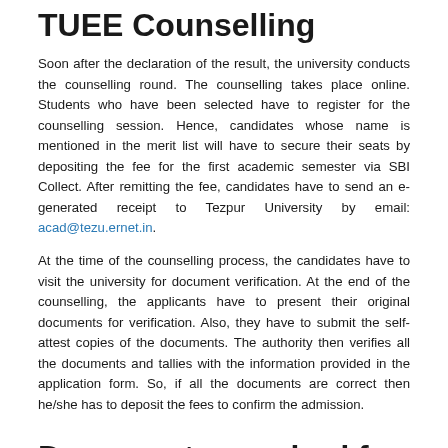TUEE Counselling
Soon after the declaration of the result, the university conducts the counselling round. The counselling takes place online. Students who have been selected have to register for the counselling session. Hence, candidates whose name is mentioned in the merit list will have to secure their seats by depositing the fee for the first academic semester via SBI Collect. After remitting the fee, candidates have to send an e-generated receipt to Tezpur University by email: acad@tezu.ernet.in.
At the time of the counselling process, the candidates have to visit the university for document verification. At the end of the counselling, the applicants have to present their original documents for verification. Also, they have to submit the self-attest copies of the documents. The authority then verifies all the documents and tallies with the information provided in the application form. So, if all the documents are correct then he/she has to deposit the fees to confirm the admission.
Documents required for TUEE